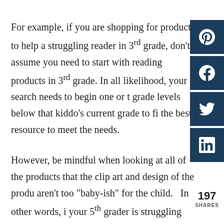For example, if you are shopping for products to help a struggling reader in 3rd grade, don't assume you need to start with reading products in 3rd grade. In all likelihood, your search needs to begin one or two grade levels below that kiddo's current grade to find the best resource to meet the needs.
However, be mindful when looking at all of the products that the clip art and design of the product aren't too "baby-ish" for the child. In other words, if your 5th grader is struggling with reading comprehension, don't purchase a product with cutesy clip art on it.